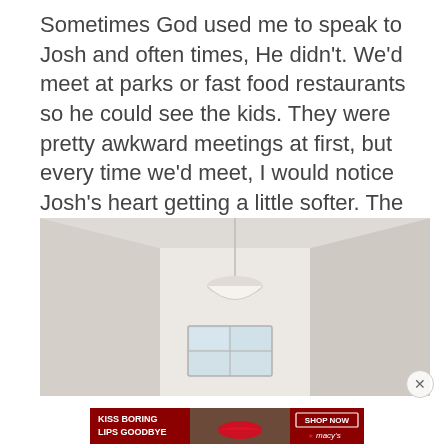Sometimes God used me to speak to Josh and often times, He didn't. We'd meet at parks or fast food restaurants so he could see the kids. They were pretty awkward meetings at first, but every time we'd meet, I would notice Josh's heart getting a little softer. The date of our coming divorce was looming.
[Figure (photo): Interior room photo showing a white hallway or room with a pendant light hanging from the ceiling and a window or opening below it, all in light neutral tones.]
[Figure (photo): Advertisement banner: 'KISS BORING LIPS GOODBYE' with a woman's face showing red lips, and 'SHOP NOW' button with Macy's star logo on a dark red/maroon background.]